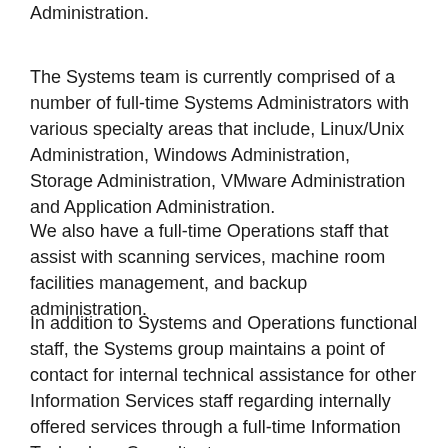Administration.
The Systems team is currently comprised of a number of full-time Systems Administrators with various specialty areas that include, Linux/Unix Administration, Windows Administration, Storage Administration, VMware Administration and Application Administration.
We also have a full-time Operations staff that assist with scanning services, machine room facilities management, and backup administration.
In addition to Systems and Operations functional staff, the Systems group maintains a point of contact for internal technical assistance for other Information Services staff regarding internally offered services through a full-time Information Technology Consultant.